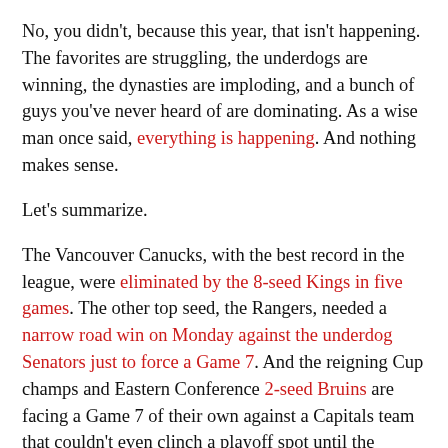No, you didn't, because this year, that isn't happening. The favorites are struggling, the underdogs are winning, the dynasties are imploding, and a bunch of guys you've never heard of are dominating. As a wise man once said, everything is happening. And nothing makes sense.
Let's summarize.
The Vancouver Canucks, with the best record in the league, were eliminated by the 8-seed Kings in five games. The other top seed, the Rangers, needed a narrow road win on Monday against the underdog Senators just to force a Game 7. And the reigning Cup champs and Eastern Conference 2-seed Bruins are facing a Game 7 of their own against a Capitals team that couldn't even clinch a playoff spot until the season's final week.